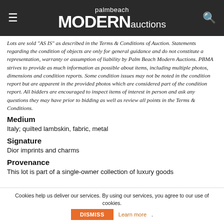palmbeach MODERN auctions
Lots are sold "AS IS" as described in the Terms & Conditions of Auction. Statements regarding the condition of objects are only for general guidance and do not constitute a representation, warranty or assumption of liability by Palm Beach Modern Auctions. PBMA strives to provide as much information as possible about items, including multiple photos, dimensions and condition reports. Some condition issues may not be noted in the condition report but are apparent in the provided photos which are considered part of the condition report. All bidders are encouraged to inspect items of interest in person and ask any questions they may have prior to bidding as well as review all points in the Terms & Conditions.
Medium
Italy; quilted lambskin, fabric, metal
Signature
Dior imprints and charms
Provenance
This lot is part of a single-owner collection of luxury goods
Cookies help us deliver our services. By using our services, you agree to our use of cookies. DISMISS Learn more.